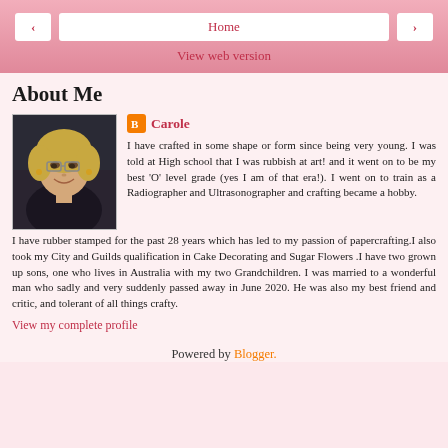< Home > View web version
About Me
[Figure (photo): Profile photo of Carole, a smiling woman with blonde hair and glasses]
Carole
I have crafted in some shape or form since being very young. I was told at High school that I was rubbish at art! and it went on to be my best 'O' level grade (yes I am of that era!). I went on to train as a Radiographer and Ultrasonographer and crafting became a hobby. I have rubber stamped for the past 28 years which has led to my passion of papercrafting.I also took my City and Guilds qualification in Cake Decorating and Sugar Flowers .I have two grown up sons, one who lives in Australia with my two Grandchildren. I was married to a wonderful man who sadly and very suddenly passed away in June 2020. He was also my best friend and critic, and tolerant of all things crafty.
View my complete profile
Powered by Blogger.